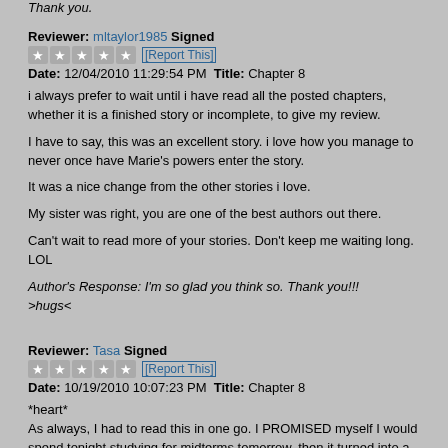Thank you.
Reviewer: mltaylor1985 Signed
★★★★★ [Report This]
Date: 12/04/2010 11:29:54 PM Title: Chapter 8
i always prefer to wait until i have read all the posted chapters, whether it is a finished story or incomplete, to give my review.
I have to say, this was an excellent story. i love how you manage to never once have Marie's powers enter the story.
It was a nice change from the other stories i love.
My sister was right, you are one of the best authors out there.
Can't wait to read more of your stories. Don't keep me waiting long. LOL
Author's Response: I'm so glad you think so. Thank you!!! >hugs<
Reviewer: Tasa Signed
★★★★★ [Report This]
Date: 10/19/2010 10:07:23 PM Title: Chapter 8
*heart*
As always, I had to read this in one go. I PROMISED myself I would spend tonight studying for midterms tomorrow, then it turned into a quick read beforehand,